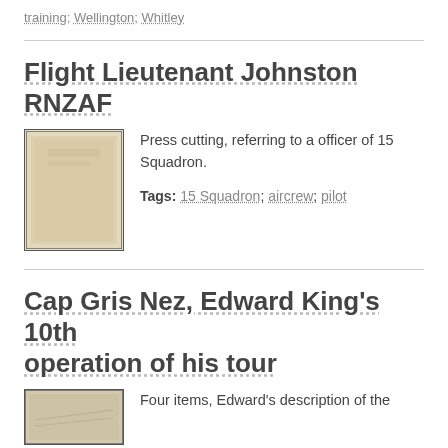training; Wellington; Whitley
Flight Lieutenant Johnston RNZAF
[Figure (photo): Thumbnail image of a document/press cutting, beige/cream colored page]
Press cutting, referring to a officer of 15 Squadron.
Tags: 15 Squadron; aircrew; pilot
Cap Gris Nez, Edward King's 10th operation of his tour
[Figure (photo): Thumbnail image of a document with handwriting or sketch]
Four items, Edward's description of the